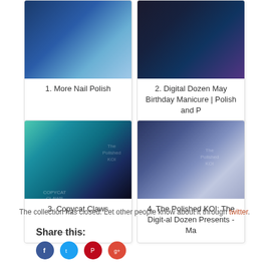[Figure (photo): Nail polish image for item 1 - More Nail Polish]
1. More Nail Polish
[Figure (photo): Nail polish image for item 2 - Digital Dozen May Birthday Manicure | Polish and P]
2. Digital Dozen May Birthday Manicure | Polish and P
[Figure (photo): Teal and blue nail art image for item 3 - Copycat Claws]
3. Copycat Claws
[Figure (photo): Blue marbled nail art image for item 4 - The Polished KOI: The Digit-al Dozen Presents - Ma]
4. The Polished KOI: The Digit-al Dozen Presents - Ma
The collection has closed. Let other people know about it through twitter.
Share this: